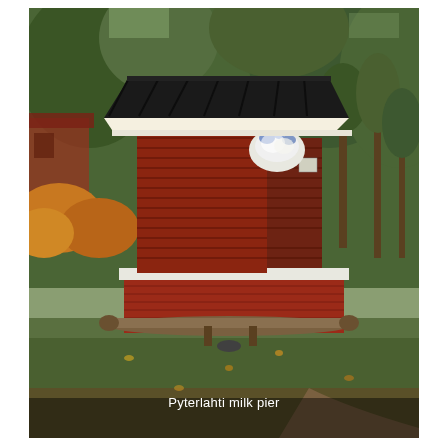[Figure (photo): A red wooden milk pier (maitolaituri) with a dark shingled roof, white trim, and hanging white flower basket, set on a raised platform with horizontal red-painted wooden boards. A wooden log bench sits in front. The structure is surrounded by green trees, bushes with autumn foliage, and a grassy area with scattered leaves. A red building is partially visible on the left background.]
Pyterlahti milk pier